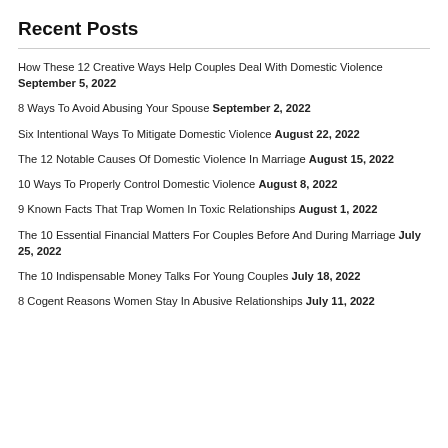Recent Posts
How These 12 Creative Ways Help Couples Deal With Domestic Violence September 5, 2022
8 Ways To Avoid Abusing Your Spouse September 2, 2022
Six Intentional Ways To Mitigate Domestic Violence August 22, 2022
The 12 Notable Causes Of Domestic Violence In Marriage August 15, 2022
10 Ways To Properly Control Domestic Violence August 8, 2022
9 Known Facts That Trap Women In Toxic Relationships August 1, 2022
The 10 Essential Financial Matters For Couples Before And During Marriage July 25, 2022
The 10 Indispensable Money Talks For Young Couples July 18, 2022
8 Cogent Reasons Women Stay In Abusive Relationships July 11, 2022